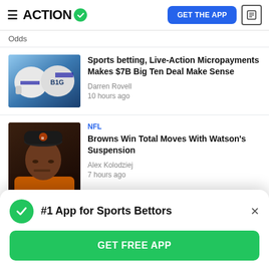ACTION  GET THE APP
Odds
Sports betting, Live-Action Micropayments Makes $7B Big Ten Deal Make Sense
Darren Rovell
10 hours ago
NFL
Browns Win Total Moves With Watson's Suspension
Alex Kolodziej
7 hours ago
#1 App for Sports Bettors
GET FREE APP